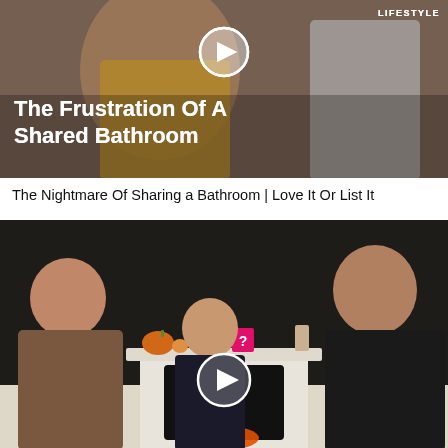[Figure (photo): Video thumbnail showing two people in a bathroom. Bold white text reads 'The Frustration Of A Shared Bathroom' with a play button icon. 'LIFESTYLE' badge in upper right corner.]
The Nightmare Of Sharing a Bathroom | Love It Or List It
[Figure (photo): Video thumbnail showing three males (a bald adult man on left, a young boy in middle, and a teenager on right) in front of a fireplace with a mantel decorated with pumpkins and candles. A play button icon is overlaid in the center.]